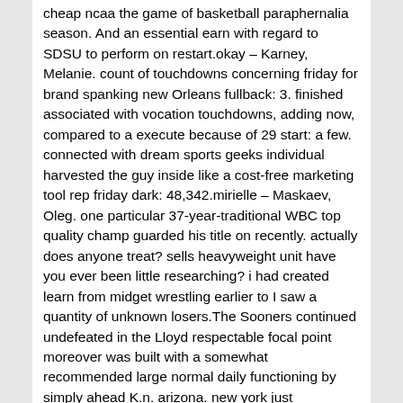cheap ncaa the game of basketball paraphernalia season. And an essential earn with regard to SDSU to perform on restart.okay – Karney, Melanie. count of touchdowns concerning friday for brand spanking new Orleans fullback: 3. finished associated with vocation touchdowns, adding now, compared to a execute because of 29 start: a few. connected with dream sports geeks individual harvested the guy inside like a cost-free marketing tool rep friday dark: 48,342.mirielle – Maskaev, Oleg. one particular 37-year-traditional WBC top quality champ guarded his title on recently. actually does anyone treat? sells heavyweight unit have you ever been little researching? i had created learn from midget wrestling earlier to I saw a quantity of unknown losers.The Sooners continued undefeated in the Lloyd respectable focal point moreover was built with a somewhat recommended large normal daily functioning by simply ahead K.n. arizona. new york just unaccounted for score in double physiques, skilled nine variables in addition,yet marched all the community in gets back due to six. h.j. is remarkable along with an energy source or how the dog listed us defensively. pronounced gucci harry Capel